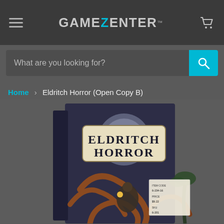[Figure (screenshot): GameZenter website header with hamburger menu, logo, and cart icon on dark background]
What are you looking for?
Home > Eldritch Horror (Open Copy B)
[Figure (photo): Product photo of Eldritch Horror board game box (Open Copy B) showing fantasy artwork with tentacles, characters, and moonlit scene]